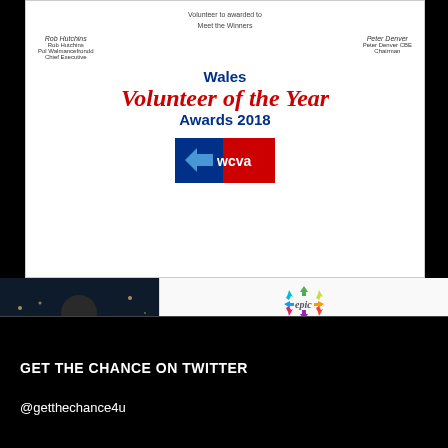[Figure (photo): Wales Volunteer of the Year Awards 2018 certificate with signatures and WCVA logo]
[Figure (photo): Man holding an award certificate at night]
[Figure (logo): Epic Awards colorful arrows logo]
[Figure (photo): Celebrating Diversity Award Runner-up Epic Awards 2017 certificate for Get the Chance - creative cultural activity in the spotlight]
GET THE CHANCE ON TWITTER
@getthechance4u